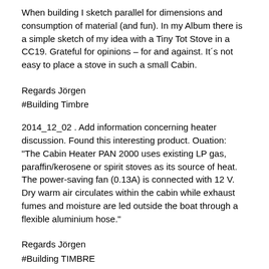When building I sketch parallel for dimensions and consumption of material (and fun). In my Album there is a simple sketch of my idea with a Tiny Tot Stove in a CC19. Grateful for opinions – for and against. It´s not easy to place a stove in such a small Cabin.
Regards Jörgen
#Building Timbre
2014_12_02 . Add information concerning heater discussion. Found this interesting product. Ouation: "The Cabin Heater PAN 2000 uses existing LP gas, paraffin/kerosene or spirit stoves as its source of heat. The power-saving fan (0.13A) is connected with 12 V. Dry warm air circulates within the cabin while exhaust fumes and moisture are led outside the boat through a flexible aluminium hose."
Regards Jörgen
#Building TIMBRE
Re: Heater in a CC19
by Timbre 19   Posted: Mon Jun 15, 2015 8:31 pm